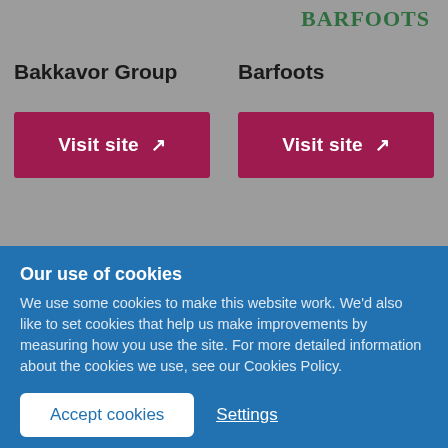[Figure (logo): BARFOOTS text logo in dark green serif font, top right of grey section]
Bakkavor Group
[Figure (other): Visit site button (crimson/dark pink) with external link icon for Bakkavor Group]
Barfoots
[Figure (other): Visit site button (crimson/dark pink) with external link icon for Barfoots]
Our use of cookies
We use some cookies to make this website work. We'd also like to set cookies that help us make improvements by measuring how you use the site. For more detailed information about the cookies we use, see our Cookies Policy.
Accept cookies
Settings